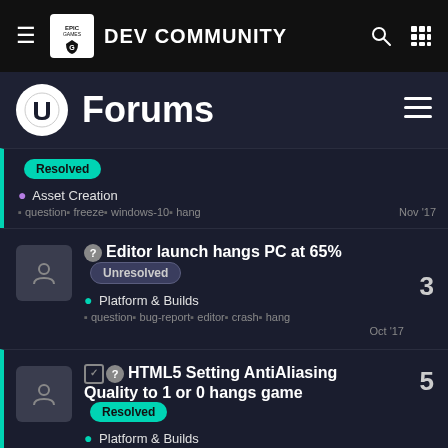Epic Games Dev Community
Forums
Resolved • Asset Creation ▪ question ▪ freeze ▪ windows-10 ▪ hang Nov '17
Editor launch hangs PC at 65% Unresolved 3 • Platform & Builds ▪ question ▪ bug-report ▪ editor ▪ crash ▪ hang Oct '17
HTML5 Setting AntiAliasing Quality to 1 or 0 hangs game Resolved 5 • Platform & Builds